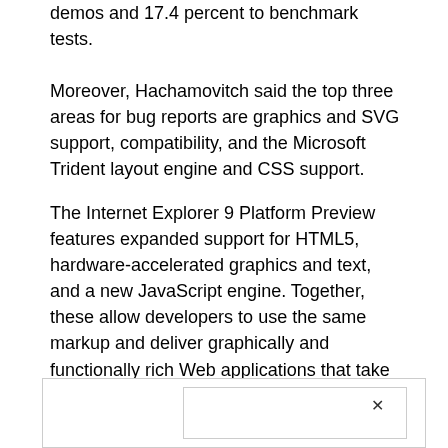demos and 17.4 percent to benchmark tests.
Moreover, Hachamovitch said the top three areas for bug reports are graphics and SVG support, compatibility, and the Microsoft Trident layout engine and CSS support.
The Internet Explorer 9 Platform Preview features expanded support for HTML5, hardware-accelerated graphics and text, and a new JavaScript engine. Together, these allow developers to use the same markup and deliver graphically and functionally rich Web applications that take advantage of modern PC hardware through a modern operating system, Microsoft said.
[Figure (screenshot): A partial UI dialog box with a close button (x) in the upper right corner of an inner panel.]